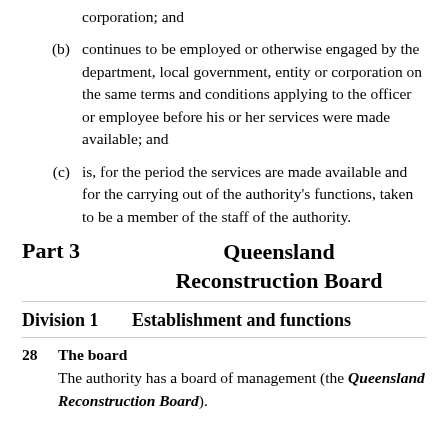corporation; and
(b) continues to be employed or otherwise engaged by the department, local government, entity or corporation on the same terms and conditions applying to the officer or employee before his or her services were made available; and
(c) is, for the period the services are made available and for the carrying out of the authority's functions, taken to be a member of the staff of the authority.
Part 3    Queensland Reconstruction Board
Division 1    Establishment and functions
28    The board
The authority has a board of management (the Queensland Reconstruction Board).